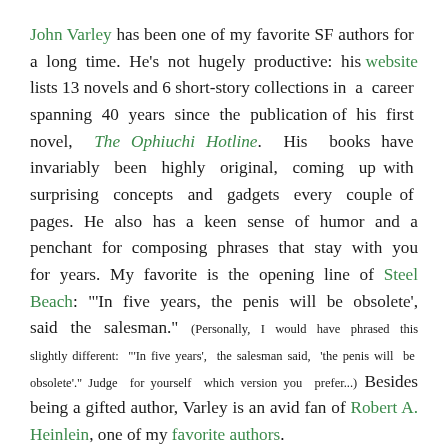John Varley has been one of my favorite SF authors for a long time. He's not hugely productive: his website lists 13 novels and 6 short-story collections in a career spanning 40 years since the publication of his first novel, The Ophiuchi Hotline. His books have invariably been highly original, coming up with surprising concepts and gadgets every couple of pages. He also has a keen sense of humor and a penchant for composing phrases that stay with you for years. My favorite is the opening line of Steel Beach: "'In five years, the penis will be obsolete', said the salesman." (Personally, I would have phrased this slightly different: "'In five years', the salesman said, 'the penis will be obsolete'." Judge for yourself which version you prefer...) Besides being a gifted author, Varley is an avid fan of Robert A. Heinlein, one of my favorite authors.
He doesn't. The obscured light is an incomplete snippet of text.